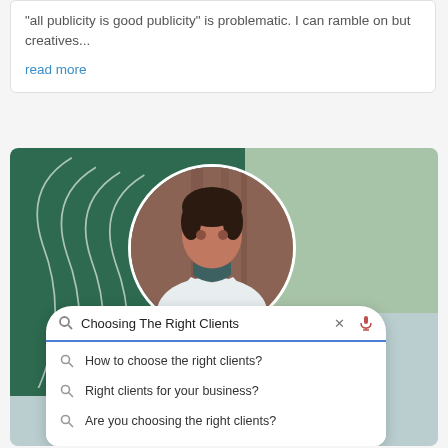"all publicity is good publicity" is problematic. I can ramble on but creatives...
read more
[Figure (infographic): Infographic card with dark green and sage green background, white swirl lines on the left, a circular portrait of a woman in a white blazer, and a search bar overlay showing 'Choosing The Right Clients' with search suggestions below.]
Choosing The Right Clients
How to choose the right clients?
Right clients for your business?
Are you choosing the right clients?